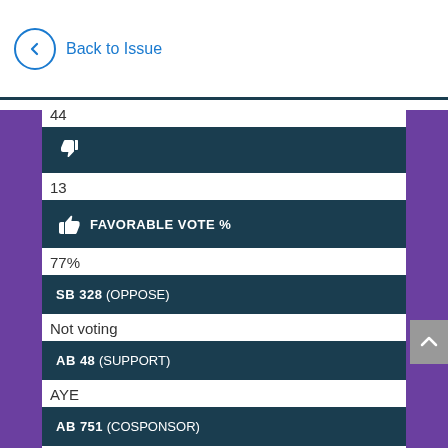Back to Issue
44
[Figure (infographic): Thumbs down icon in dark teal bar]
13
FAVORABLE VOTE %
77%
SB 328 (OPPOSE)
Not voting
AB 48 (SUPPORT)
AYE
AB 751 (COSPONSOR)
AYE